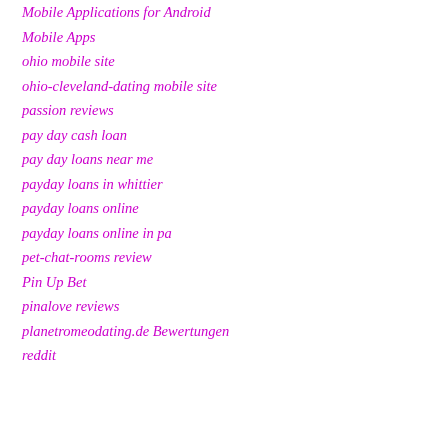Mobile Applications for Android
Mobile Apps
ohio mobile site
ohio-cleveland-dating mobile site
passion reviews
pay day cash loan
pay day loans near me
payday loans in whittier
payday loans online
payday loans online in pa
pet-chat-rooms review
Pin Up Bet
pinalove reviews
planetromeodating.de Bewertungen
reddit